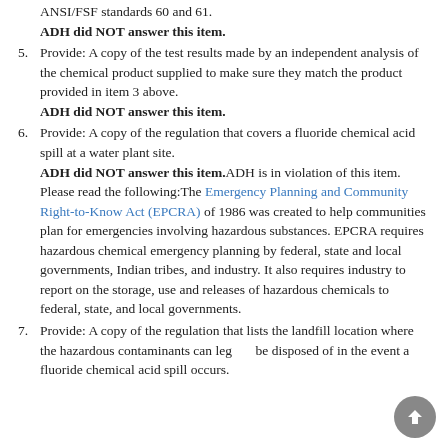ANSI/FSF standards 60 and 61.
ADH did NOT answer this item.
5. Provide: A copy of the test results made by an independent analysis of the chemical product supplied to make sure they match the product provided in item 3 above.
ADH did NOT answer this item.
6. Provide: A copy of the regulation that covers a fluoride chemical acid spill at a water plant site.
ADH did NOT answer this item. ADH is in violation of this item. Please read the following: The Emergency Planning and Community Right-to-Know Act (EPCRA) of 1986 was created to help communities plan for emergencies involving hazardous substances. EPCRA requires hazardous chemical emergency planning by federal, state and local governments, Indian tribes, and industry. It also requires industry to report on the storage, use and releases of hazardous chemicals to federal, state, and local governments.
7. Provide: A copy of the regulation that lists the landfill location where the hazardous contaminants can legally be disposed of in the event a fluoride chemical acid spill occurs.